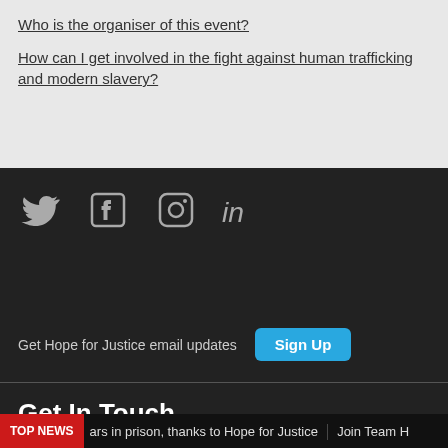Who is the organiser of this event?
How can I get involved in the fight against human trafficking and modern slavery?
[Figure (other): Social media icons: Twitter, Facebook, Instagram, LinkedIn on dark background]
Get Hope for Justice email updates
Get In Touch
Contact us
TOP NEWS | ...ars in prison, thanks to Hope for Justice | Join Team H...